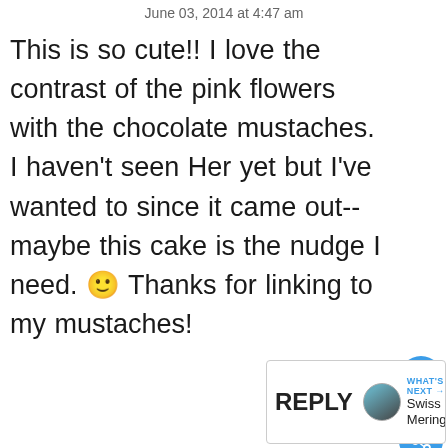June 03, 2014 at 4:47 am
This is so cute!! I love the contrast of the pink flowers with the chocolate mustaches. I haven't seen Her yet but I've wanted to since it came out-- maybe this cake is the nudge I need. 🙂 Thanks for linking to my mustaches!
[Figure (screenshot): Reply button and 'WHAT'S NEXT → Swiss Meringue...' panel with avatar thumbnail]